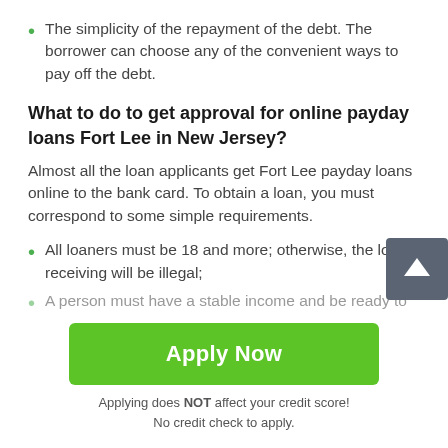The simplicity of the repayment of the debt. The borrower can choose any of the convenient ways to pay off the debt.
What to do to get approval for online payday loans Fort Lee in New Jersey?
Almost all the loan applicants get Fort Lee payday loans online to the bank card. To obtain a loan, you must correspond to some simple requirements.
All loaners must be 18 and more; otherwise, the loan receiving will be illegal;
A person must have a stable income and be ready to
[Figure (other): Green Apply Now button]
Applying does NOT affect your credit score!
No credit check to apply.